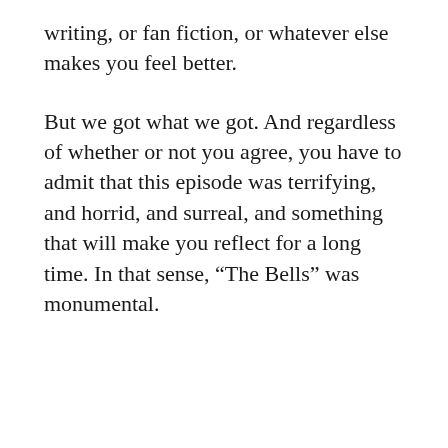writing, or fan fiction, or whatever else makes you feel better.
But we got what we got. And regardless of whether or not you agree, you have to admit that this episode was terrifying, and horrid, and surreal, and something that will make you reflect for a long time. In that sense, “The Bells” was monumental.